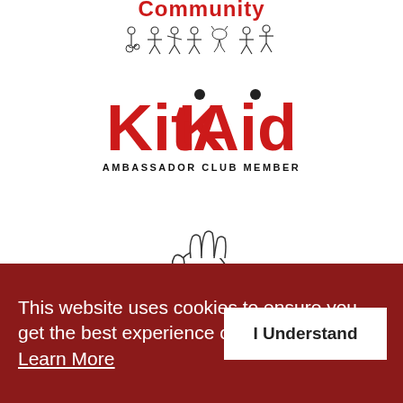[Figure (logo): Community logo with stick figures at the top of the page]
[Figure (logo): KitAid Ambassador Club Member logo with bold red lettering and soccer ball icons]
[Figure (logo): #ITSOKAYTOTALK logo featuring a hand making an OK gesture]
[Figure (logo): Cinch League 2 logo partially visible at bottom]
This website uses cookies to ensure you get the best experience on our website. Learn More
I Understand